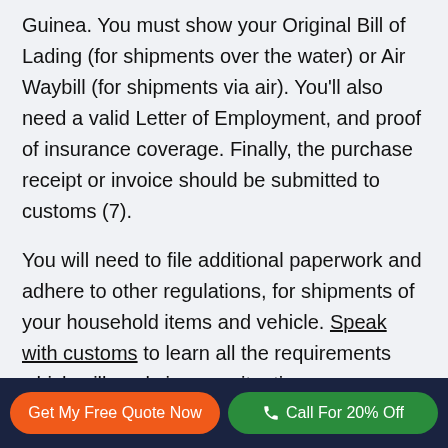Guinea. You must show your Original Bill of Lading (for shipments over the water) or Air Waybill (for shipments via air). You'll also need a valid Letter of Employment, and proof of insurance coverage. Finally, the purchase receipt or invoice should be submitted to customs (7).
You will need to file additional paperwork and adhere to other regulations, for shipments of your household items and vehicle. Speak with customs to learn all the requirements which will apply in your situation.
Get My Free Quote Now   Call For 20% Off